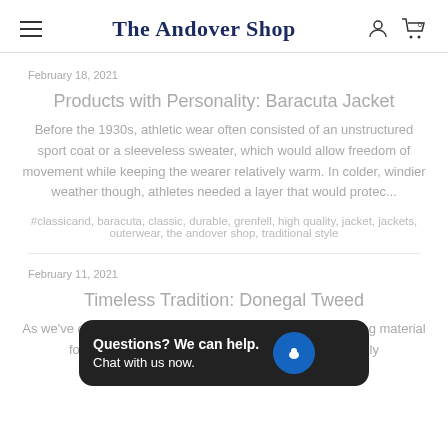The Andover Shop
February 18, 2021
Products with Personality: Baracuta Jacket
Before the 1930s, athletic wear often consisted of an unstructured sport coat or a sleeveless sweater, which would allow freedom of movement while keeping the wearer relatively warm. In colder, windier weather though, athletes needed a layer that would protec...
#classicand, baracuta, classic, durable, grenfell, high quality, jacket, jackets, outerwear, the andover shop, traditional style
February 11, 2021
Timeless Tradition: Donegal Tweed
As we've disc... the wool cloth collectively kno... hard-wearing material for country wear in Scotland and Ireland. Using locally